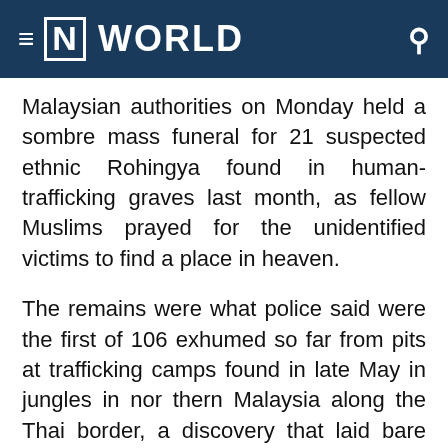≡ [N] WORLD
Malaysian authorities on Monday held a sombre mass funeral for 21 suspected ethnic Rohingya found in human-trafficking graves last month, as fellow Muslims prayed for the unidentified victims to find a place in heaven.
The remains were what police said were the first of 106 exhumed so far from pits at trafficking camps found in late May in jungles in northern Malaysia along the Thai border, a discovery that laid bare the brutal extent of the region's migrant crisis.
About 100 local villagers offered quiet Muslim prayers as 21 wooden coffins – containing 19 men and two women – were lowered into